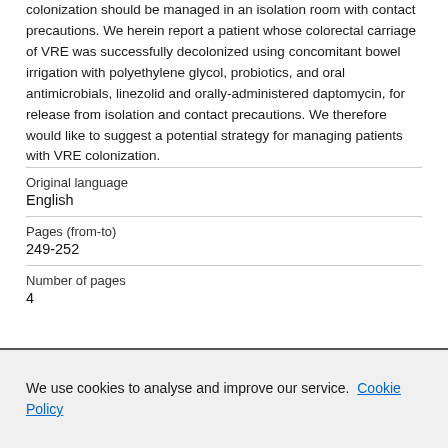colonization should be managed in an isolation room with contact precautions. We herein report a patient whose colorectal carriage of VRE was successfully decolonized using concomitant bowel irrigation with polyethylene glycol, probiotics, and oral antimicrobials, linezolid and orally-administered daptomycin, for release from isolation and contact precautions. We therefore would like to suggest a potential strategy for managing patients with VRE colonization.
| Original language | English |
| Pages (from-to) | 249-252 |
| Number of pages | 4 |
We use cookies to analyse and improve our service. Cookie Policy